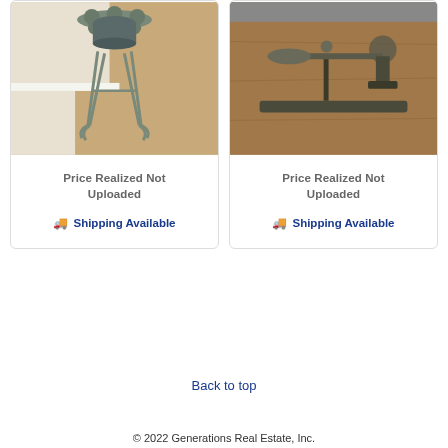[Figure (photo): Iron plant stand with flower-shaped top and curled legs on hardwood floor]
Price Realized Not Uploaded
🚚 Shipping Available
[Figure (photo): Antique balance scale on wooden surface]
Price Realized Not Uploaded
🚚 Shipping Available
1 2 3 4 ›
Back to top
© 2022 Generations Real Estate, Inc.